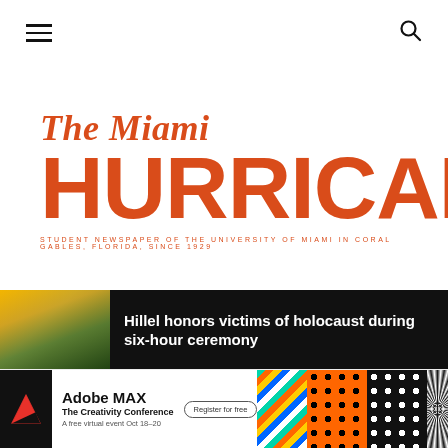Navigation bar with hamburger menu and search icon
The Miami HURRICANE — STUDENT NEWSPAPER OF THE UNIVERSITY OF MIAMI IN CORAL GABLES, FLORIDA, SINCE 1929
[Figure (logo): Social media icons: Facebook (f), Instagram (camera), Twitter (bird)]
Hillel honors victims of holocaust during six-hour ceremony
[Figure (photo): Adobe MAX - The Creativity Conference advertisement banner. Logo, Register for free button, and colorful pattern graphics.]